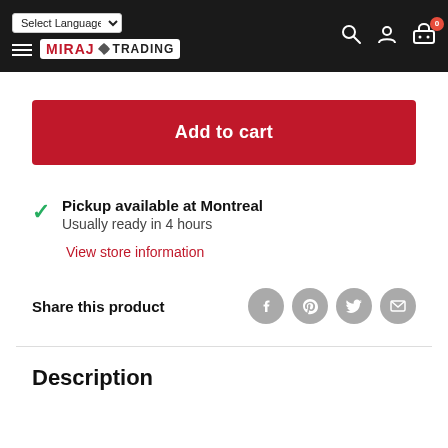Select Language | Miraj Trading | Search | Account | Cart (0)
Add to cart
Pickup available at Montreal
Usually ready in 4 hours
View store information
Share this product
Description